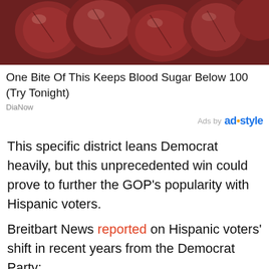[Figure (photo): Close-up photo of red food items, possibly cherries or glazed meat, cropped at top of page (advertisement image)]
One Bite Of This Keeps Blood Sugar Below 100 (Try Tonight)
DiaNow
Ads by ad•style
This specific district leans Democrat heavily, but this unprecedented win could prove to further the GOP's popularity with Hispanic voters.
Breitbart News reported on Hispanic voters' shift in recent years from the Democrat Party:
“In recent years, the Hispanic community has been slowly moving toward the Republican party